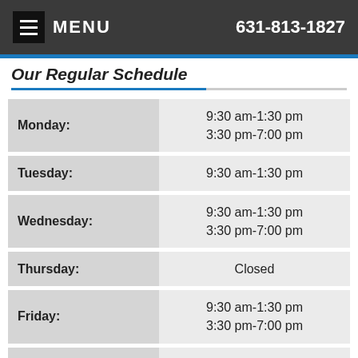MENU  631-813-1827
Our Regular Schedule
| Day | Hours |
| --- | --- |
| Monday: | 9:30 am-1:30 pm
3:30 pm-7:00 pm |
| Tuesday: | 9:30 am-1:30 pm |
| Wednesday: | 9:30 am-1:30 pm
3:30 pm-7:00 pm |
| Thursday: | Closed |
| Friday: | 9:30 am-1:30 pm
3:30 pm-7:00 pm |
| Saturday: | Closed |
| Sunday: |  |